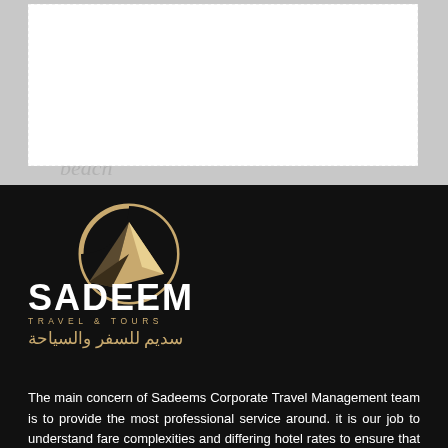[Figure (illustration): Top section with white rectangular area over gray background with 'beach' italic watermark text]
[Figure (logo): Sadeem Travel & Tours logo: circular gold compass/sail icon above company name in white and gold, with Arabic text سديم للسفر والسياحة]
The main concern of Sadeems Corporate Travel Management team is to provide the most professional service around. it is our job to understand fare complexities and differing hotel rates to ensure that our clients will receive the best possible